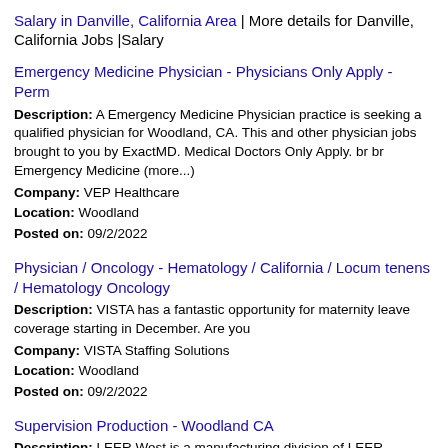Salary in Danville, California Area | More details for Danville, California Jobs |Salary
Emergency Medicine Physician - Physicians Only Apply - Perm
Description: A Emergency Medicine Physician practice is seeking a qualified physician for Woodland, CA. This and other physician jobs brought to you by ExactMD. Medical Doctors Only Apply. br br Emergency Medicine (more...)
Company: VEP Healthcare
Location: Woodland
Posted on: 09/2/2022
Physician / Oncology - Hematology / California / Locum tenens / Hematology Oncology
Description: VISTA has a fantastic opportunity for maternity leave coverage starting in December. Are you
Company: VISTA Staffing Solutions
Location: Woodland
Posted on: 09/2/2022
Supervision Production - Woodland CA
Description: LEER West is a manufacturing division of LEER GROUP LLC. The Company is North America's largest